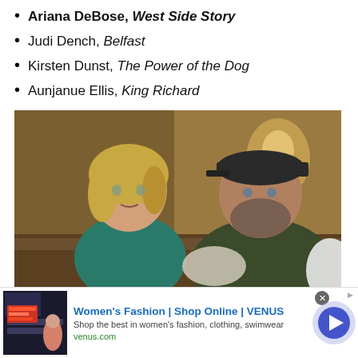Ariana DeBose, West Side Story
Judi Dench, Belfast
Kirsten Dunst, The Power of the Dog
Aunjanue Ellis, King Richard
[Figure (photo): Two people sitting on a couch: a blonde woman in a teal polo shirt on the left and a bearded man in a dark cap and olive t-shirt on the right, both looking off-screen in an indoor setting.]
(Image credit: Vendôme Pictures)
Women's Fashion | Shop Online | VENUS — Shop the best in women's fashion, clothing, swimwear — venus.com